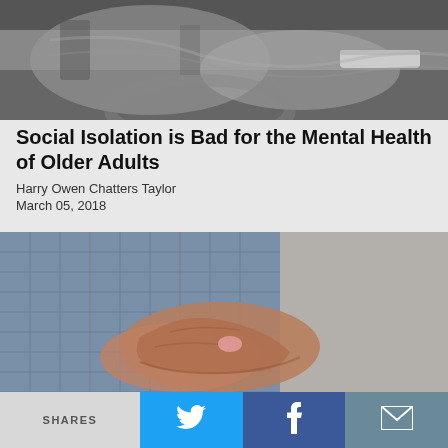[Figure (photo): Black and white close-up photo of elderly hands on a steering wheel]
Social Isolation is Bad for the Mental Health of Older Adults
Harry Owen Chatters Taylor
March 05, 2018
[Figure (photo): Color close-up photo of elderly person's hands, wearing a blue plaid shirt, holding something small]
SHARES